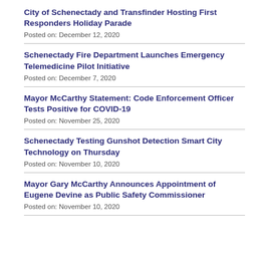City of Schenectady and Transfinder Hosting First Responders Holiday Parade
Posted on: December 12, 2020
Schenectady Fire Department Launches Emergency Telemedicine Pilot Initiative
Posted on: December 7, 2020
Mayor McCarthy Statement: Code Enforcement Officer Tests Positive for COVID-19
Posted on: November 25, 2020
Schenectady Testing Gunshot Detection Smart City Technology on Thursday
Posted on: November 10, 2020
Mayor Gary McCarthy Announces Appointment of Eugene Devine as Public Safety Commissioner
Posted on: November 10, 2020